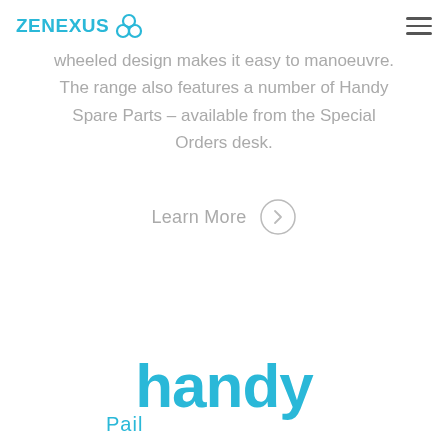ZENEXUS (logo with icon) and hamburger menu
wheeled design makes it easy to manoeuvre. The range also features a number of Handy Spare Parts – available from the Special Orders desk.
Learn More
[Figure (logo): handy Pail logo — 'handy' in large cyan bold lowercase text, 'Pail' in smaller cyan text below]